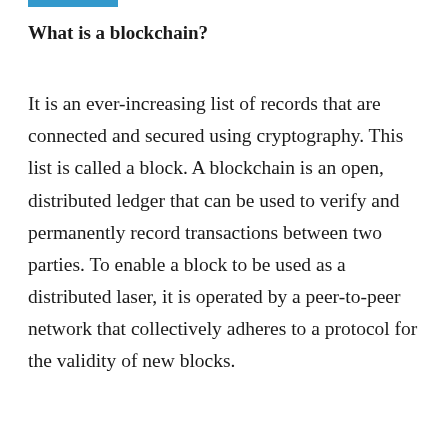What is a blockchain?
It is an ever-increasing list of records that are connected and secured using cryptography. This list is called a block. A blockchain is an open, distributed ledger that can be used to verify and permanently record transactions between two parties. To enable a block to be used as a distributed laser, it is operated by a peer-to-peer network that collectively adheres to a protocol for the validity of new blocks.